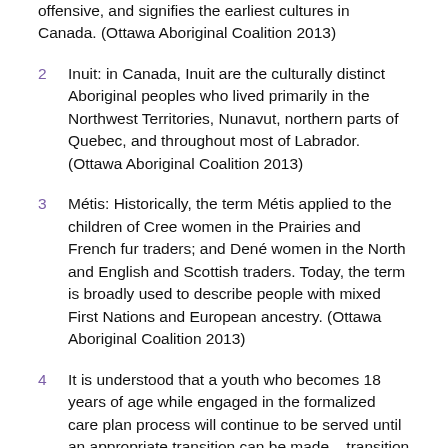offensive, and signifies the earliest cultures in Canada. (Ottawa Aboriginal Coalition 2013)
2   Inuit: in Canada, Inuit are the culturally distinct Aboriginal peoples who lived primarily in the Northwest Territories, Nunavut, northern parts of Quebec, and throughout most of Labrador. (Ottawa Aboriginal Coalition 2013)
3   Métis: Historically, the term Métis applied to the children of Cree women in the Prairies and French fur traders; and Dené women in the North and English and Scottish traders. Today, the term is broadly used to describe people with mixed First Nations and European ancestry. (Ottawa Aboriginal Coalition 2013)
4   It is understood that a youth who becomes 18 years of age while engaged in the formalized care plan process will continue to be served until an appropriate transition can be made – transition plan would become